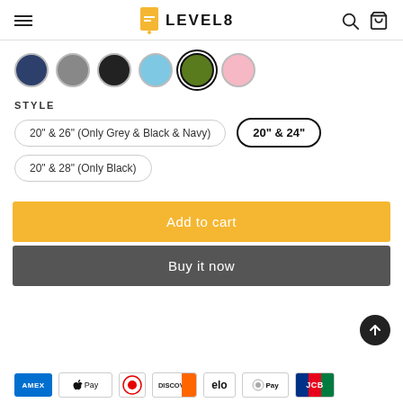LEVEL8 navigation header with hamburger menu, logo, search and cart icons
[Figure (other): Row of color swatches: Navy, Grey, Black, Light Blue, Olive Green (selected), Pink]
STYLE
20" & 26" (Only Grey & Black & Navy)
20" & 24" (selected)
20" & 28" (Only Black)
Add to cart
Buy it now
[Figure (other): Payment method icons: AMEX, Apple Pay, Diners, Discover, Elo, FH Pay, JCB]